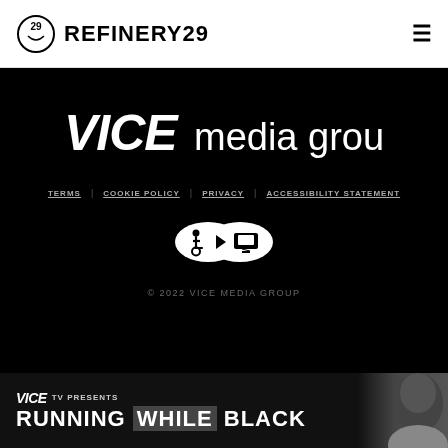REFINERY29
[Figure (logo): VICE media group logo in white text on black background]
TERMS   COOKIE POLICY   PRIVACY   ACCESSIBILITY STATEMENT
[Figure (other): Accessibility icon badge with wheelchair, play button, and monitor symbols]
© 2022 VICE MEDIA GROUP
[Figure (other): VICE TV PRESENTS - RUNNING WHILE BLACK advertisement banner with a person's face visible on the right]